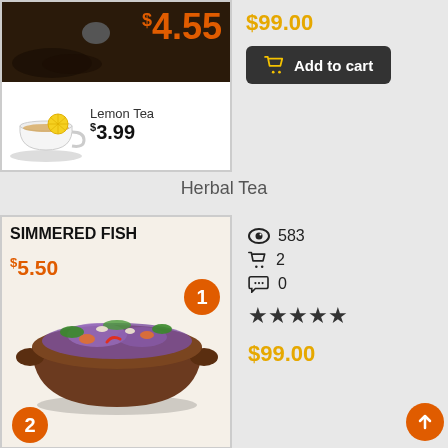[Figure (photo): Top product image block showing dark tea leaves with price $4.55 in orange at top, and a cup of Lemon Tea with lemon slice and price $3.99 below]
$99.00
Add to cart
Herbal Tea
[Figure (photo): Simmered Fish product card showing title SIMMERED FISH, price $5.50 in orange, a bowl of fish dish with vegetables, orange badge with number 1, and partial orange badge with number 2 at bottom]
583
2
0
★★★★★
$99.00